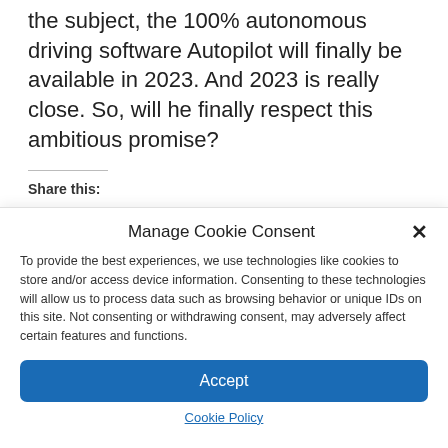the subject, the 100% autonomous driving software Autopilot will finally be available in 2023. And 2023 is really close. So, will he finally respect this ambitious promise?
Share this:
Twitter  Facebook
Manage Cookie Consent
To provide the best experiences, we use technologies like cookies to store and/or access device information. Consenting to these technologies will allow us to process data such as browsing behavior or unique IDs on this site. Not consenting or withdrawing consent, may adversely affect certain features and functions.
Accept
Cookie Policy